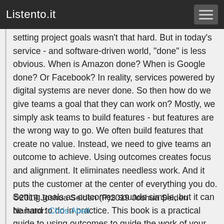Listento.it
setting project goals wasn’t that hard. But in today’s service - and software-driven world, “done” is less obvious. When is Amazon done? When is Google done? Or Facebook? In reality, services powered by digital systems are never done. So then how do we give teams a goal that they can work on? Mostly, we simply ask teams to build features - but features are the wrong way to go. We often build features that create no value. Instead, we need to give teams an outcome to achieve. Using outcomes creates focus and alignment. It eliminates needless work. And it puts the customer at the center of everything you do. Setting goals as outcomes sounds simple, but it can be hard to do in practice. This book is a practical guide to using outcomes to guide the work of your team.
©2019 Joshua Seiden (P)2019 Joshua Seiden
Narrator: Chris Abell